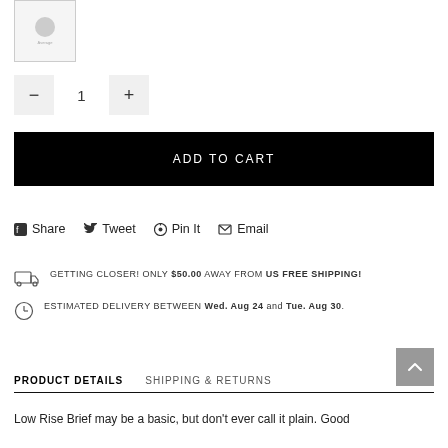[Figure (photo): Small product thumbnail image in a bordered box, showing a placeholder icon with a circle and label text below it]
1 (quantity selector with minus and plus buttons)
ADD TO CART
Share  Tweet  Pin It  Email
GETTING CLOSER! ONLY $50.00 AWAY FROM US FREE SHIPPING!
ESTIMATED DELIVERY BETWEEN Wed. Aug 24 and Tue. Aug 30.
PRODUCT DETAILS   SHIPPING & RETURNS
Low Rise Brief may be a basic, but don't ever call it plain. Good